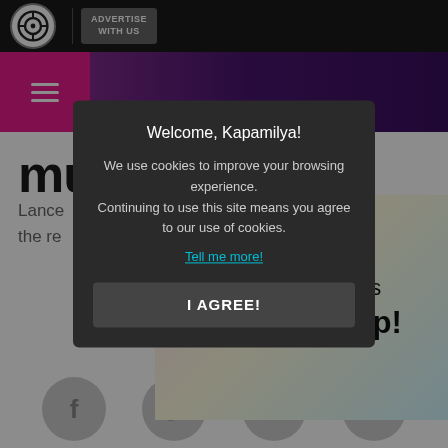ABS-CBN | ADVERTISE WITH US
[Figure (screenshot): Navigation bar with hamburger menu and purple gradient background]
mu...
Lance... t with the re... gle.
[Figure (infographic): Advertisement banner: Your Pinoy Favorites All in One App! on iWTFC app icon]
BY Rhea
Twitter: @
FRESH S
09/16/2018
[Figure (screenshot): Cookie consent modal: Welcome, Kapamilya! We use cookies to improve your browsing experience. Continuing to use this site means you agree to our use of cookies. Tell me more! | I AGREE!]
[Figure (other): Social media icons row: Facebook, Twitter, Google+, Viber]